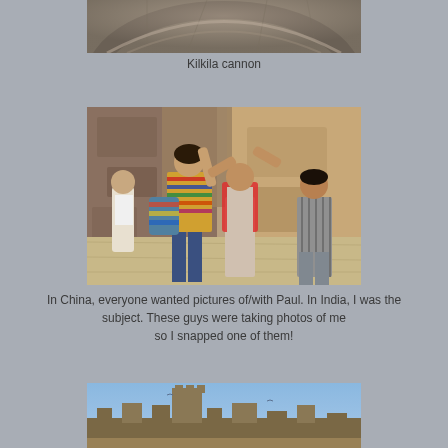[Figure (photo): Close-up photo of the Kilkila cannon, showing the curved stone/metal barrel surface with textured details]
Kilkila cannon
[Figure (photo): Photo of a group of people at what appears to be a historical site in India. A woman with a striped outfit and bag is in the foreground, with several men around her waving, in front of a stone wall.]
In China, everyone wanted pictures of/with Paul. In India, I was the subject. These guys were taking photos of me so I snapped one of them!
[Figure (photo): Partial photo of a fort or castle silhouette against a blue sky]